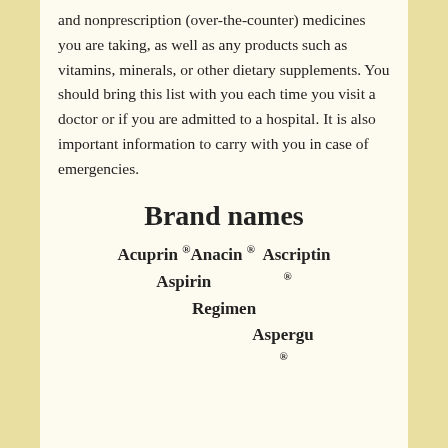and nonprescription (over-the-counter) medicines you are taking, as well as any products such as vitamins, minerals, or other dietary supplements. You should bring this list with you each time you visit a doctor or if you are admitted to a hospital. It is also important information to carry with you in case of emergencies.
Brand names
Acuprin ® Anacin ® Ascriptin ® Aspirin Regimen Aspergu ®